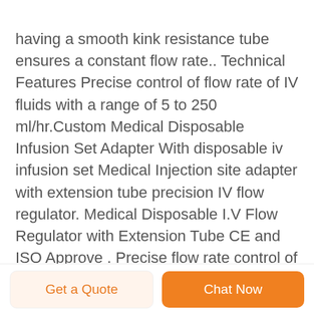having a smooth kink resistance tube ensures a constant flow rate.. Technical Features Precise control of flow rate of IV fluids with a range of 5 to 250 ml/hr.Custom Medical Disposable Infusion Set Adapter With disposable iv infusion set Medical Injection site adapter with extension tube precision IV flow regulator. Medical Disposable I.V Flow Regulator with Extension Tube CE and ISO Approve . Precise flow rate control of IV fluids with range of 5to
Get a Quote   Chat Now